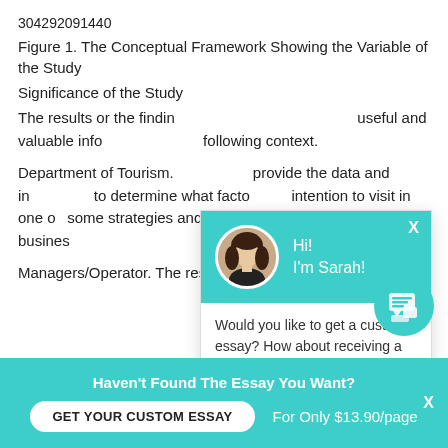304292091440
Figure 1. The Conceptual Framework Showing the Variable of the Study
Significance of the Study
The results or the findings of this study will provide useful and valuable information in the following context.
Department of Tourism. This study will provide the data and information to determine what factors affect the intention to visit in one of and recommend some strategies and other establishments in tourism related businesses.
Managers/Operator. The result of this study will
[Figure (screenshot): Chat popup overlay with teal header showing avatar of Sarah, greeting 'Hi! I'm Sarah!', and chat message 'Would you like to get a custom essay? How about receiving a customized one?' with a 'Check it out' link. A teal circular chat icon button is visible at lower right.]
Haven't Found The Essay You Want?
GET YOUR CUSTOM ESSAY
For Only $13.90/page